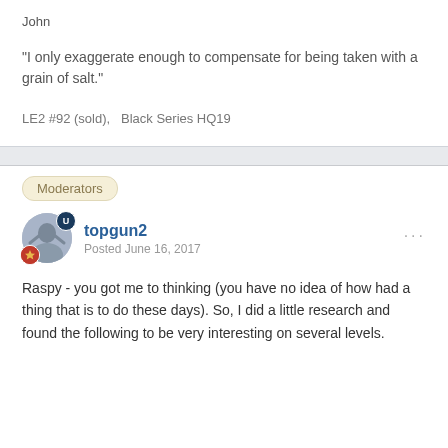John
"I only exaggerate enough to compensate for being taken with a grain of salt."
LE2 #92 (sold),   Black Series HQ19
Moderators
topgun2
Posted June 16, 2017
Raspy - you got me to thinking (you have no idea of how had a thing that is to do these days).  So, I did a little research and found the following to be very interesting on several levels.